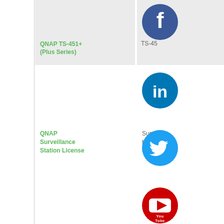[Figure (screenshot): Partial view of a product comparison table for QNAP NAS devices, showing product names (QNAP TS-451+ Plus Series, QNAP Surveillance Station License, QNAP TS-131, QNAP TS-121, QNAP TS-873U-RP) alongside truncated model numbers (TS-45, TS-13, TS-12, TS-87) and social media icons (Facebook, LinkedIn, Twitter, YouTube) overlaid on the right column area.]